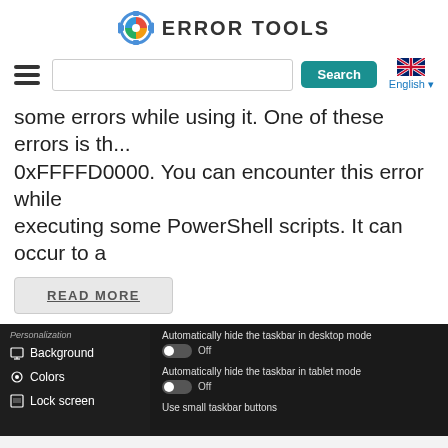[Figure (logo): Error Tools logo with gear icon and colored Windows-style colored segments]
[Figure (screenshot): Navigation bar with hamburger menu, search input, Search button, and UK flag language selector showing English]
some errors while using it. One of these errors is the 0xFFFFD0000. You can encounter this error while executing some PowerShell scripts. It can occur to a
READ MORE
[Figure (screenshot): Windows Settings panel showing Personalization options: Background, Colors, Lock screen on left; Automatically hide the taskbar in desktop mode (Off), Automatically hide the taskbar in tablet mode (Off), Use small taskbar buttons on right]
Add names of applications in the taskbar
READ MORE